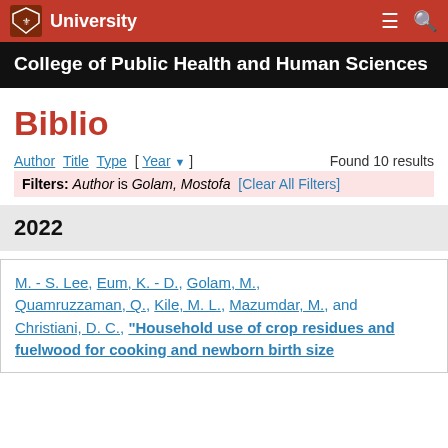University
College of Public Health and Human Sciences
Biblio
Author Title Type [ Year ] Found 10 results
Filters: Author is Golam, Mostofa [Clear All Filters]
2022
M. - S. Lee, Eum, K. - D., Golam, M., Quamruzzaman, Q., Kile, M. L., Mazumdar, M., and Christiani, D. C., “Household use of crop residues and fuelwood for cooking and newborn birth size